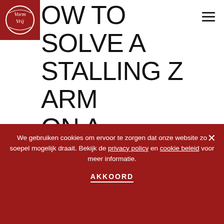[Figure (logo): VormVrij logo — white cursive text on red square background]
HOW TO SOLVE A STALLING Z ARM ON A LUTUM® WITH TOUCH SCREEN.
Home › Archieven voor
info@vormvrij.nl
We gebruiken cookies om ervoor te zorgen dat onze website zo soepel mogelijk draait. Bekijk de privacy policy en cookie beleid voor meer informatie.
AKKOORD